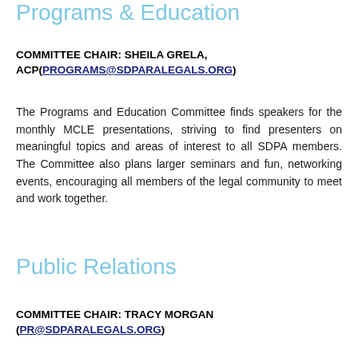Programs & Education
COMMITTEE CHAIR: SHEILA GRELA, ACP(PROGRAMS@SDPARALEGALS.ORG)
The Programs and Education Committee finds speakers for the monthly MCLE presentations, striving to find presenters on meaningful topics and areas of interest to all SDPA members. The Committee also plans larger seminars and fun, networking events, encouraging all members of the legal community to meet and work together.
Public Relations
COMMITTEE CHAIR: TRACY MORGAN (PR@SDPARALEGALS.ORG)